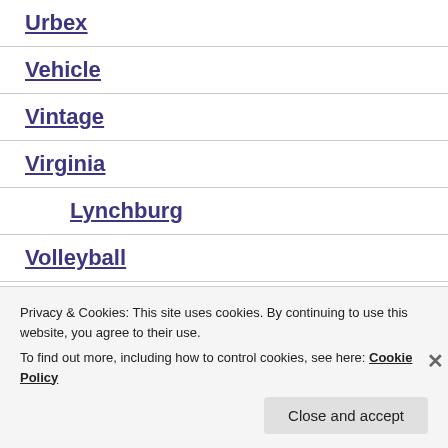Urbex
Vehicle
Vintage
Virginia
Lynchburg
Volleyball
Privacy & Cookies: This site uses cookies. By continuing to use this website, you agree to their use.
To find out more, including how to control cookies, see here: Cookie Policy